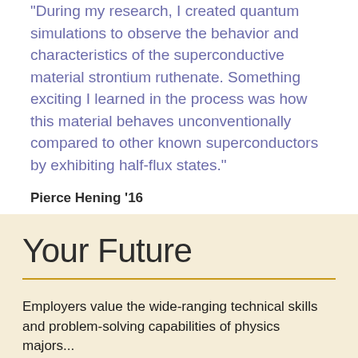"During my research, I created quantum simulations to observe the behavior and characteristics of the superconductive material strontium ruthenate. Something exciting I learned in the process was how this material behaves unconventionally compared to other known superconductors by exhibiting half-flux states."
Pierce Hening '16
Your Future
Employers value the wide-ranging technical skills and problem-solving capabilities of physics majors...